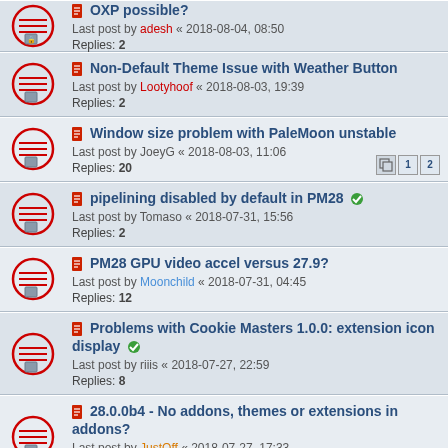OXP possible? Last post by adesh « 2018-08-04, 08:50 Replies: 2
Non-Default Theme Issue with Weather Button Last post by Lootyhoof « 2018-08-03, 19:39 Replies: 2
Window size problem with PaleMoon unstable Last post by JoeyG « 2018-08-03, 11:06 Replies: 20
pipelining disabled by default in PM28 [solved] Last post by Tomaso « 2018-07-31, 15:56 Replies: 2
PM28 GPU video accel versus 27.9? Last post by Moonchild « 2018-07-31, 04:45 Replies: 12
Problems with Cookie Masters 1.0.0: extension icon display [solved] Last post by riiis « 2018-07-27, 22:59 Replies: 8
28.0.0b4 - No addons, themes or extensions in addons? Last post by JustOff « 2018-07-27, 17:33 Replies: 5
Problem with PDF downloads [solved] Last post by us66mo « 2018-07-26, 18:38 Replies: 11
[/one_half_last] Last post by Lunokhod « 2018-07-26, 13:57 Replies: 3